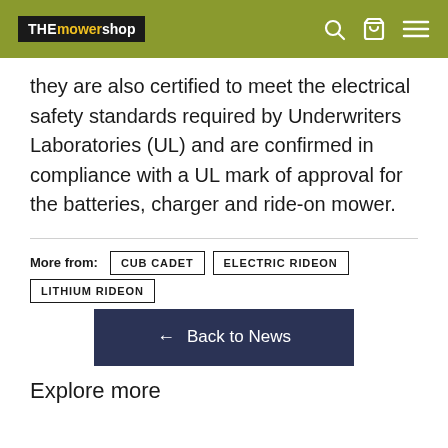THE mower shop
they are also certified to meet the electrical safety standards required by Underwriters Laboratories (UL) and are confirmed in compliance with a UL mark of approval for the batteries, charger and ride-on mower.
More from: CUB CADET   ELECTRIC RIDEON   LITHIUM RIDEON
← Back to News
Explore more